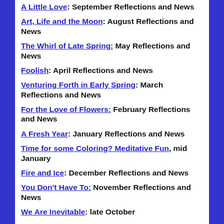A Little Love: September Reflections and News
Art, Life and the Moon: August Reflections and News
The Whirl of Late Spring: May Reflections and News
Foolish: April Reflections and News
Venturing Forth in Early Spring: March Reflections and News
For the Love of Flowers: February Reflections and News
A Fresh Year: January Reflections and News
Time for some Coloring? Meditative Fun, mid January
Fire and Ice: December Reflections and News
You Don't Have To: November Reflections and News
We Are Inevitable: late October